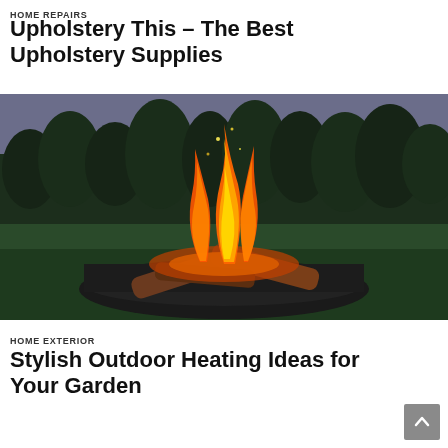HOME REPAIRS
Upholstery This – The Best Upholstery Supplies
[Figure (photo): A fire burning in an outdoor fire pit bowl with logs, set against a dark green tree line and dusky sky]
HOME EXTERIOR
Stylish Outdoor Heating Ideas for Your Garden